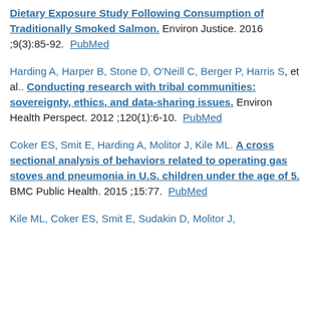Dietary Exposure Study Following Consumption of Traditionally Smoked Salmon. Environ Justice. 2016 ;9(3):85-92. PubMed
Harding A, Harper B, Stone D, O'Neill C, Berger P, Harris S, et al.. Conducting research with tribal communities: sovereignty, ethics, and data-sharing issues. Environ Health Perspect. 2012 ;120(1):6-10. PubMed
Coker ES, Smit E, Harding A, Molitor J, Kile ML. A cross sectional analysis of behaviors related to operating gas stoves and pneumonia in U.S. children under the age of 5. BMC Public Health. 2015 ;15:77. PubMed
Kile ML, Coker ES, Smit E, Sudakin D, Molitor J,